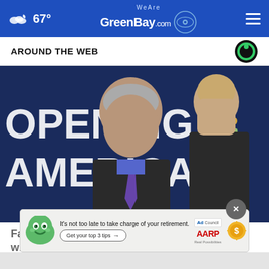WeAreGreenBay.com — 67°
AROUND THE WEB
[Figure (photo): Photo of Dr. Anthony Fauci and Dr. Deborah Birx standing in front of a dark blue banner reading 'OPENING AMERICA'. Fauci wears glasses, a dark suit, and purple tie. Birx wears a green scarf and dark jacket.]
Fauci and Birx at odds over angry encounter with Pen...
[Figure (other): AARP advertisement banner: 'It's not too late to take charge of your retirement. Get your top 3 tips →' with Ad Council and AARP logos and a green cartoon mascot.]